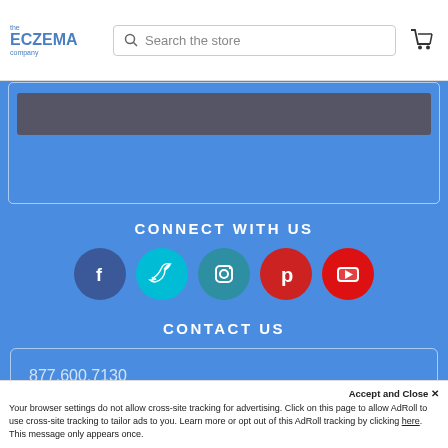the ECZEMA company — Search the store — Cart
CONNECT WITH US
[Figure (infographic): Row of 5 social media icons: Facebook (dark blue circle), Twitter (teal circle), Instagram (teal/blue circle), Pinterest (red circle), YouTube (red circle)]
CONTACT US
877.600.7130
Your browser settings do not allow cross-site tracking for advertising. Click on this page to allow AdRoll to use cross-site tracking to tailor ads to you. Learn more or opt out of this AdRoll tracking by clicking here. This message only appears once.